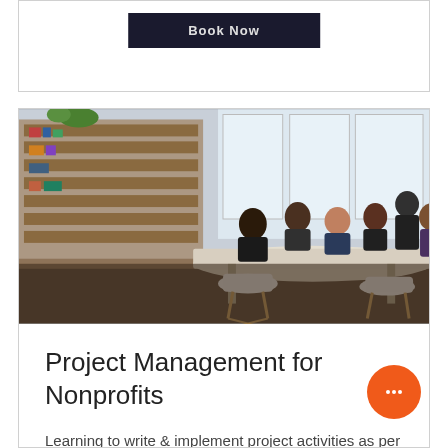Book Now
[Figure (photo): Group of diverse people having a meeting around a table in a modern office with shelves and large windows]
Project Management for Nonprofits
Learning to write & implement project activities as per donor's terms
96 hr
Call To Inquire